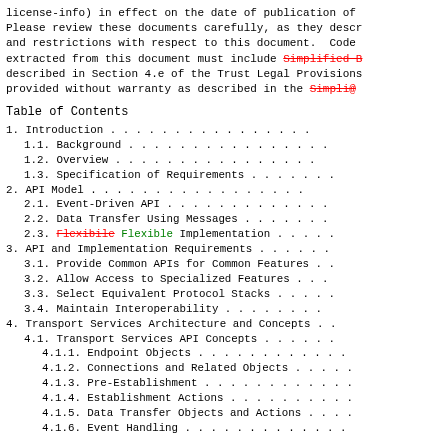license-info) in effect on the date of publication of
Please review these documents carefully, as they descr
and restrictions with respect to this document.  Code
extracted from this document must include Simplified B
described in Section 4.e of the Trust Legal Provisions
provided without warranty as described in the Simplifi
Table of Contents
1.  Introduction . . . . . . . . . . . . . . . .
1.1.  Background . . . . . . . . . . . . . . . .
1.2.  Overview . . . . . . . . . . . . . . . .
1.3.  Specification of Requirements . . . . . . .
2.  API Model . . . . . . . . . . . . . . . . .
2.1.  Event-Driven API . . . . . . . . . . . . .
2.2.  Data Transfer Using Messages . . . . . . .
2.3.  Flexibile Flexible Implementation . . . . .
3.  API and Implementation Requirements . . . . . .
3.1.  Provide Common APIs for Common Features . .
3.2.  Allow Access to Specialized Features . . .
3.3.  Select Equivalent Protocol Stacks . . . . .
3.4.  Maintain Interoperability . . . . . . . .
4.  Transport Services Architecture and Concepts . .
4.1.  Transport Services API Concepts . . . . . .
4.1.1.  Endpoint Objects . . . . . . . . . . . .
4.1.2.  Connections and Related Objects . . . . .
4.1.3.  Pre-Establishment . . . . . . . . . . . .
4.1.4.  Establishment Actions . . . . . . . . . .
4.1.5.  Data Transfer Objects and Actions . . . .
4.1.6.  Event Handling . . . . . . . . . . . . .